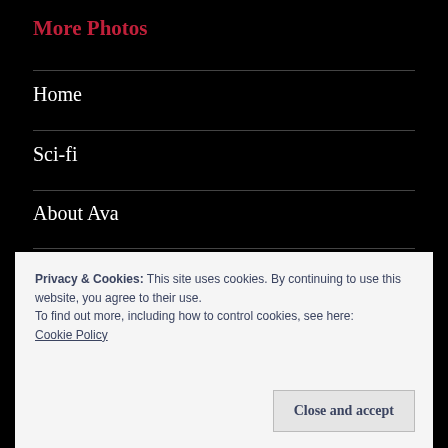More Photos
Home
Sci-fi
About Ava
Fantasy Faire
Privacy & Cookies: This site uses cookies. By continuing to use this website, you agree to their use.
To find out more, including how to control cookies, see here:
Cookie Policy
Close and accept